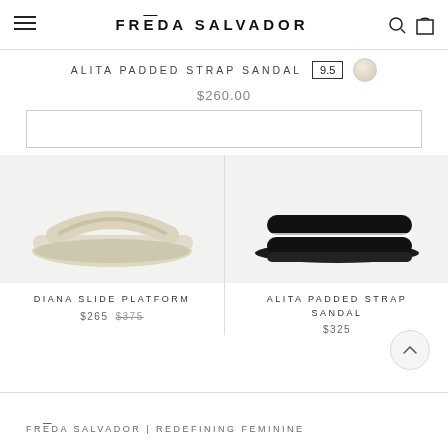FRĒDA SALVADOR
ALITA PADDED STRAP SANDAL  9.5
$260.00
[Figure (photo): Cream/off-white platform slide sandal (DIANA SLIDE PLATFORM) on light grey background]
[Figure (photo): Black padded strap sandal (ALITA PADDED STRAP SANDAL) on light grey background]
DIANA SLIDE PLATFORM
$265  $375
ALITA PADDED STRAP SANDAL
$325
FRĒDA SALVADOR | REDEFINING FEMININE